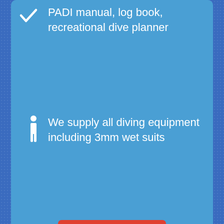PADI manual, log book, recreational dive planner
We supply all diving equipment including 3mm wet suits
Book now
PADI Open Water Diver
$442 USD